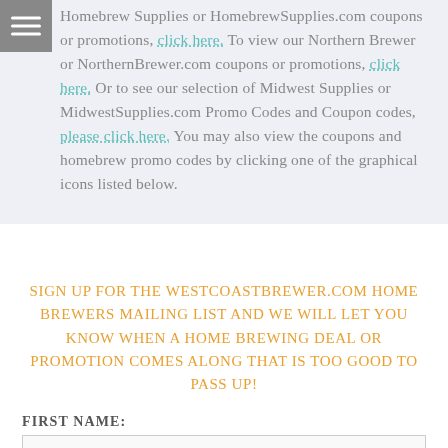Homebrew Supplies or HomebrewSupplies.com coupons or promotions, click here. To view our Northern Brewer or NorthernBrewer.com coupons or promotions, click here. Or to see our selection of Midwest Supplies or MidwestSupplies.com Promo Codes and Coupon codes, please click here. You may also view the coupons and homebrew promo codes by clicking one of the graphical icons listed below.
SIGN UP FOR THE WESTCOASTBREWER.COM HOME BREWERS MAILING LIST AND WE WILL LET YOU KNOW WHEN A HOME BREWING DEAL OR PROMOTION COMES ALONG THAT IS TOO GOOD TO PASS UP!
FIRST NAME: